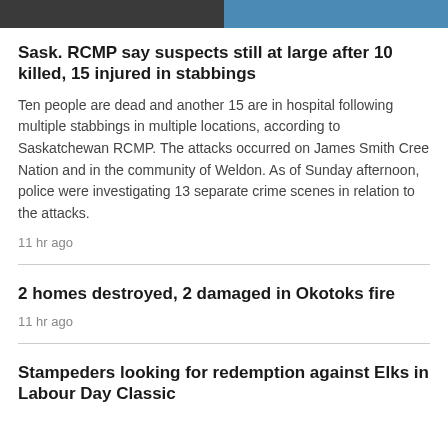[Figure (photo): Two side-by-side images at the top of the page, left side dark-toned and right side blue-toned]
Sask. RCMP say suspects still at large after 10 killed, 15 injured in stabbings
Ten people are dead and another 15 are in hospital following multiple stabbings in multiple locations, according to Saskatchewan RCMP. The attacks occurred on James Smith Cree Nation and in the community of Weldon. As of Sunday afternoon, police were investigating 13 separate crime scenes in relation to the attacks.
11 hr ago
2 homes destroyed, 2 damaged in Okotoks fire
11 hr ago
Stampeders looking for redemption against Elks in Labour Day Classic